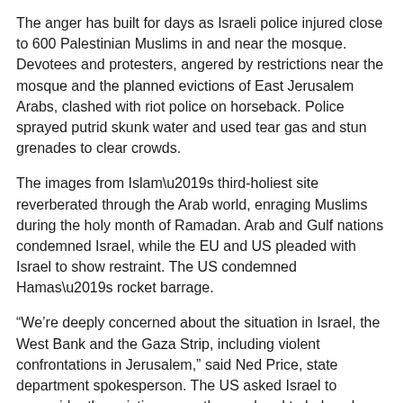The anger has built for days as Israeli police injured close to 600 Palestinian Muslims in and near the mosque. Devotees and protesters, angered by restrictions near the mosque and the planned evictions of East Jerusalem Arabs, clashed with riot police on horseback. Police sprayed putrid skunk water and used tear gas and stun grenades to clear crowds.
The images from Islam’s third-holiest site reverberated through the Arab world, enraging Muslims during the holy month of Ramadan. Arab and Gulf nations condemned Israel, while the EU and US pleaded with Israel to show restraint. The US condemned Hamas’s rocket barrage.
“We’re deeply concerned about the situation in Israel, the West Bank and the Gaza Strip, including violent confrontations in Jerusalem,” said Ned Price, state department spokesperson. The US asked Israel to reconsider the evictions over the weekend to help calm tension.
Israeli riot police rushed into the mosque’s compound on Monday morning, clearing stone-throwing protesters with tear gas, rubber bullets and stun grenades, injuring nearly 300 people.
Hamas stepped into the conflict on Monday evening after it gave Israel a deadline of 6pm to remove its forces from the mosque and from a nearby neighbourhood where Jewish settlers, backed by Israeli rightwing politicians, want to evict dozens of Palestinians from their homes.